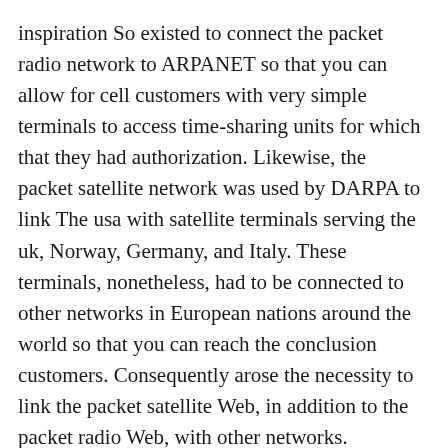inspiration So existed to connect the packet radio network to ARPANET so that you can allow for cell customers with very simple terminals to access time-sharing units for which that they had authorization. Likewise, the packet satellite network was used by DARPA to link The usa with satellite terminals serving the uk, Norway, Germany, and Italy. These terminals, nonetheless, had to be connected to other networks in European nations around the world so that you can reach the conclusion customers. Consequently arose the necessity to link the packet satellite Web, in addition to the packet radio Web, with other networks. Foundation of the net The web resulted from the effort to connect many exploration networks in The usa and Europe. To start with, DARPA founded a application to analyze the interconnection of “heterogeneous networks.” This application formed the settings, procedures and disciplines